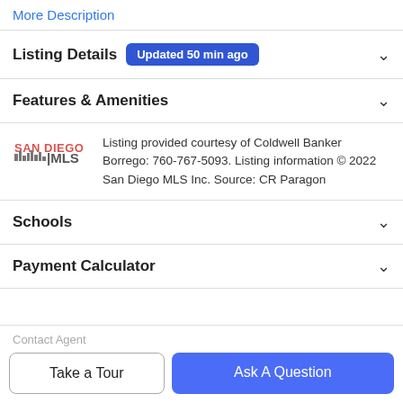More Description
Listing Details  Updated 50 min ago
Features & Amenities
Listing provided courtesy of Coldwell Banker Borrego: 760-767-5093. Listing information © 2022 San Diego MLS Inc. Source: CR Paragon
Schools
Payment Calculator
Contact Agent
Take a Tour
Ask A Question